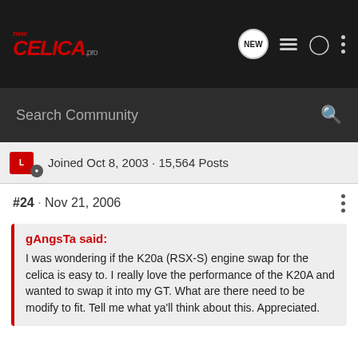newcelica.org navigation bar with logo, NEW bubble, list icon, person icon, dots icon
Search Community
Joined Oct 8, 2003 · 15,564 Posts
#24 · Nov 21, 2006
gAngsTa said:
I was wondering if the K20a (RSX-S) engine swap for the celica is easy to. I really love the performance of the K20A and wanted to swap it into my GT. What are there need to be modify to fit. Tell me what ya'll think about this. Appreciated.
Custom axkes
cutom mounts
'custom mount brackets
the entire fron clip off an RSX-S in oder to get:
Wiring
ECU